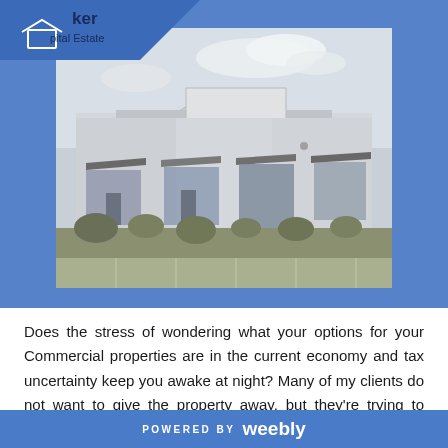[Figure (photo): Logo for a real estate company showing 'ker' text, an icon, and 'pital Estate' text with a blue diagonal banner in the top-left corner]
[Figure (photo): Black and white photograph of a commercial strip retail building with awnings and large windows, set against a cloudy sky, with landscaping in front]
Does the stress of wondering what your options for your Commercial properties are in the current economy and tax uncertainty keep you awake at night? Many of my clients do not want to give the property away, but they're trying to weigh what the potential for
POWERED BY weebly